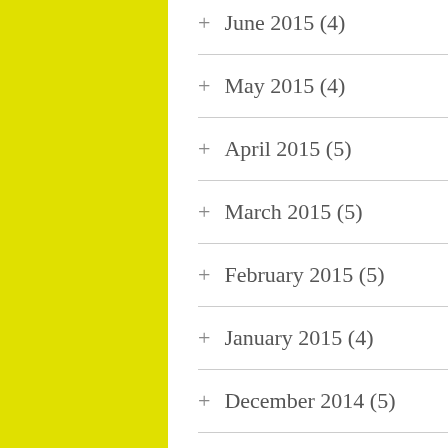+ June 2015 (4)
+ May 2015 (4)
+ April 2015 (5)
+ March 2015 (5)
+ February 2015 (5)
+ January 2015 (4)
+ December 2014 (5)
+ November 2014 (4)
+ October 2014 (8)
+ September 2014 (10)
+ August 2014 (11)